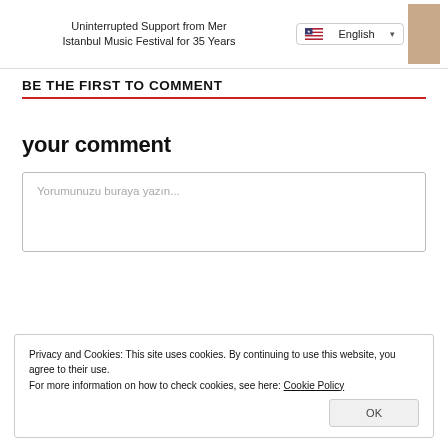Uninterrupted Support from Merc... | English | Istanbul Music Festival for 35 Years
BE THE FIRST TO COMMENT
your comment
Yorumunuzu buraya yazın...
Privacy and Cookies: This site uses cookies. By continuing to use this website, you agree to their use.
For more information on how to check cookies, see here: Cookie Policy
OK